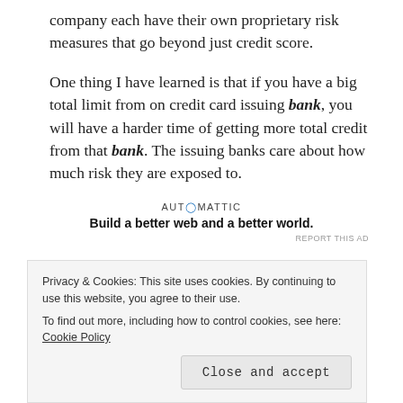company each have their own proprietary risk measures that go beyond just credit score.
One thing I have learned is that if you have a big total limit from on credit card issuing bank, you will have a harder time of getting more total credit from that bank.  The issuing banks care about how much risk they are exposed to.
[Figure (logo): Automattic advertisement logo with tagline 'Build a better web and a better world.']
So, if your are trying to grow your total available credit in
Privacy & Cookies: This site uses cookies. By continuing to use this website, you agree to their use.
To find out more, including how to control cookies, see here: Cookie Policy
say, US Bank, or Capital One.